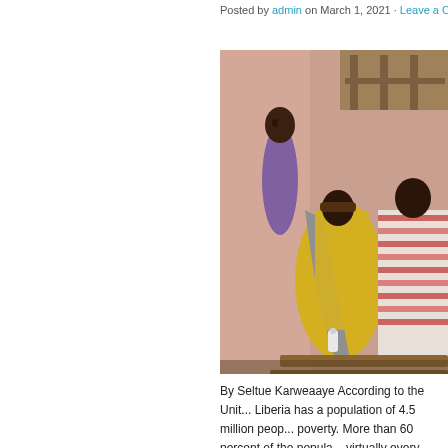Posted by admin on March 1, 2021 · Leave a C
[Figure (photo): Group of people sitting outdoors against a pink/terracotta wall. A person in a yellow vest with a grey cloth draped over their shoulder sits with back to camera next to someone in a striped shirt. A person standing is visible in the background near a wooden frame structure.]
By Seltue Karweaaye According to the Unit... Liberia has a population of 4.5 million peop... poverty. More than 60 percent of the popula... virtually every Liberian family is the sight of